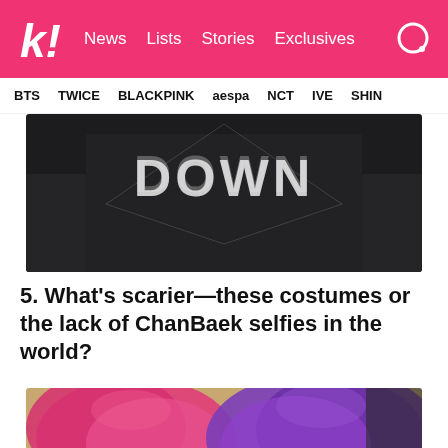k! News Lists Stories Exclusives
BTS TWICE BLACKPINK aespa NCT IVE SHINee
[Figure (photo): Dark background image showing 'DOWN' text in metallic letters on what appears to be a costume or jacket]
5. What’s scarier—these costumes or the lack of ChanBaek selfies in the world?
[Figure (photo): Photo showing people with brightly colored hair — pink and purple — from behind]